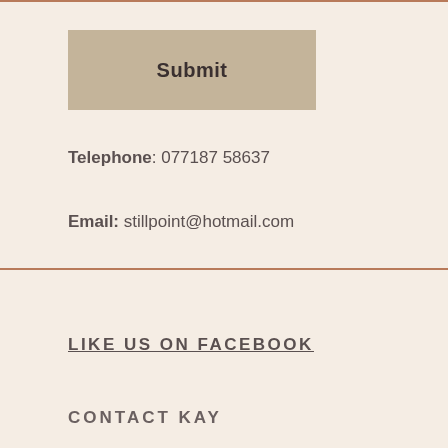Submit
Telephone: 077187 58637
Email: stillpoint@hotmail.com
LIKE US ON FACEBOOK
CONTACT KAY